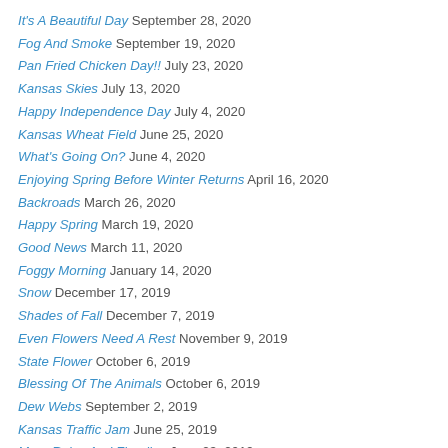It's A Beautiful Day September 28, 2020
Fog And Smoke September 19, 2020
Pan Fried Chicken Day!! July 23, 2020
Kansas Skies July 13, 2020
Happy Independence Day July 4, 2020
Kansas Wheat Field June 25, 2020
What's Going On? June 4, 2020
Enjoying Spring Before Winter Returns April 16, 2020
Backroads March 26, 2020
Happy Spring March 19, 2020
Good News March 11, 2020
Foggy Morning January 14, 2020
Snow December 17, 2019
Shades of Fall December 7, 2019
Even Flowers Need A Rest November 9, 2019
State Flower October 6, 2019
Blessing Of The Animals October 6, 2019
Dew Webs September 2, 2019
Kansas Traffic Jam June 25, 2019
More Rains And Flooding June 23, 2019